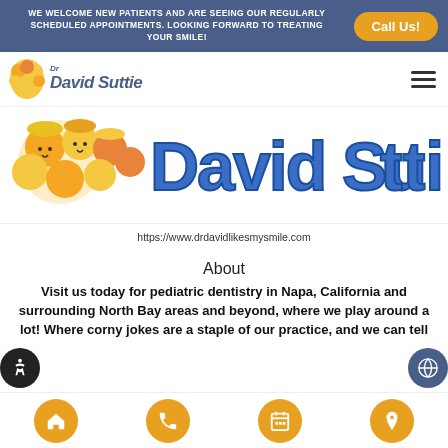WE WELCOME NEW PATIENTS AND ARE SEEING OUR REGULARLY SCHEDULED APPOINTMENTS. LOOKING FORWARD TO TREATING YOUR SMILE! | Call Us!
[Figure (logo): Dr David Suttie pediatric dentistry logo with cartoon children characters and blue stylized text]
https://www.drdavidlikesmysmile.com
About
Visit us today for pediatric dentistry in Napa, California and surrounding North Bay areas and beyond, where we play around a lot! Where corny jokes are a staple of our practice, and we can tell...
Home | Phone | Calendar | Location icons